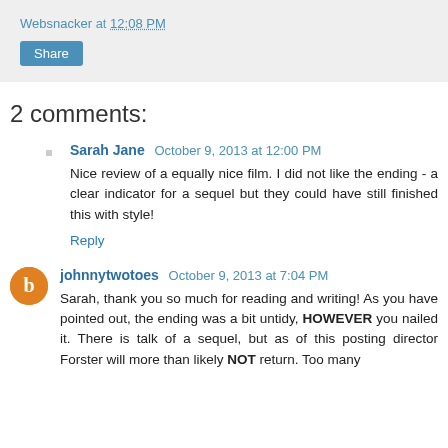Websnacker at 12:08 PM
Share
2 comments:
Sarah Jane  October 9, 2013 at 12:00 PM
Nice review of a equally nice film. I did not like the ending - a clear indicator for a sequel but they could have still finished this with style!
Reply
johnnytwotoes  October 9, 2013 at 7:04 PM
Sarah, thank you so much for reading and writing! As you have pointed out, the ending was a bit untidy, HOWEVER you nailed it. There is talk of a sequel, but as of this posting director Forster will more than likely NOT return. Too many